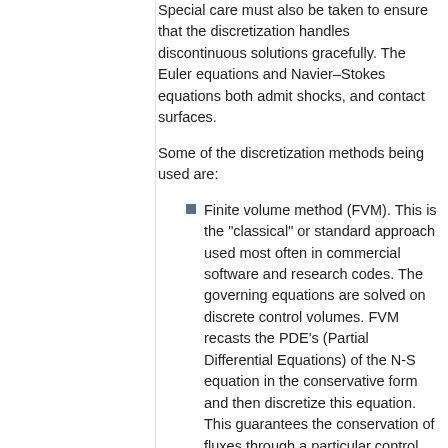Special care must also be taken to ensure that the discretization handles discontinuous solutions gracefully. The Euler equations and Navier–Stokes equations both admit shocks, and contact surfaces.
Some of the discretization methods being used are:
Finite volume method (FVM). This is the "classical" or standard approach used most often in commercial software and research codes. The governing equations are solved on discrete control volumes. FVM recasts the PDE's (Partial Differential Equations) of the N-S equation in the conservative form and then discretize this equation. This guarantees the conservation of fluxes through a particular control volume. Though the overall solution will be conservative in nature there is no guarantee that it is the actual solution. Moreover this method is sensitive to distorted elements which can prevent convergence if such elements are in